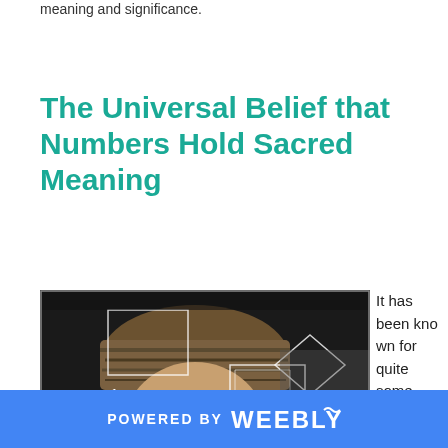meaning and significance.
The Universal Belief that Numbers Hold Sacred Meaning
[Figure (photo): Portrait of a man wearing a turban with geometric shapes overlaid, and numbers 1, 2, 3, 4, 5 on the left side and mathematical symbols on the bottom.]
It has been known for quite some time by great
POWERED BY weebly